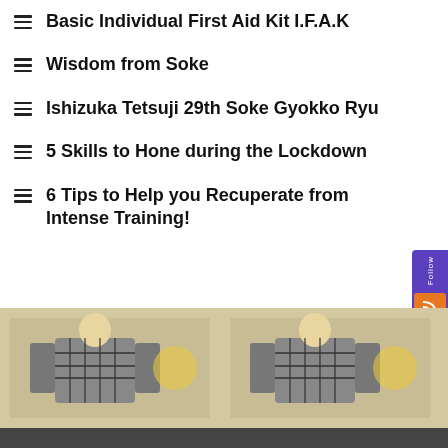Basic Individual First Aid Kit I.F.A.K
Wisdom from Soke
Ishizuka Tetsuji 29th Soke Gyokko Ryu
5 Skills to Hone during the Lockdown
6 Tips to Help you Recuperate from Intense Training!
[Figure (illustration): Repeating pattern of Japanese warrior/samurai figures in traditional illustration style, tiled horizontally]